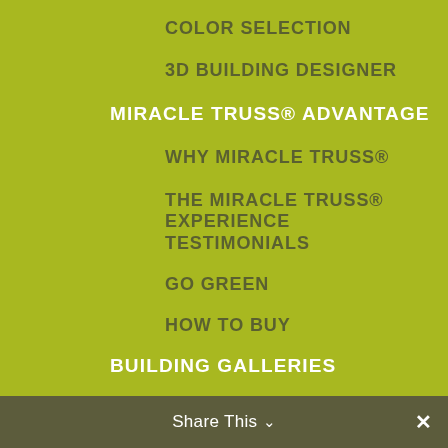COLOR SELECTION
3D BUILDING DESIGNER
MIRACLE TRUSS® ADVANTAGE
WHY MIRACLE TRUSS®
THE MIRACLE TRUSS® EXPERIENCE
TESTIMONIALS
GO GREEN
HOW TO BUY
BUILDING GALLERIES
IN CONSTRUCTION
GARAGES & SHOPS
HANGARS
INDUSTRIAL & COMMERCIAL
RESIDENTIAL & CABINS
RV & MARINE
STORAGE BUILDINGS
AGRICULTURAL BUILDINGS
Share This